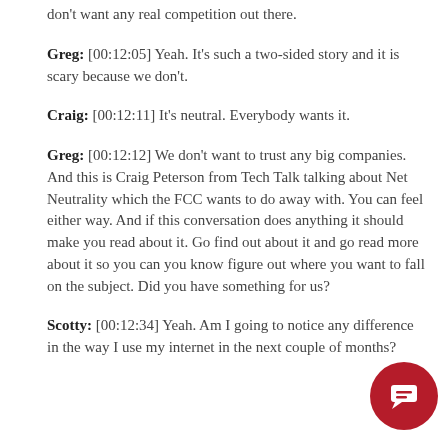don't want any real competition out there.
Greg: [00:12:05] Yeah. It's such a two-sided story and it is scary because we don't.
Craig: [00:12:11] It's neutral. Everybody wants it.
Greg: [00:12:12] We don't want to trust any big companies. And this is Craig Peterson from Tech Talk talking about Net Neutrality which the FCC wants to do away with. You can feel either way. And if this conversation does anything it should make you read about it. Go find out about it and go read more about it so you can you know figure out where you want to fall on the subject. Did you have something for us?
Scotty: [00:12:34] Yeah. Am I going to notice any difference in the way I use my internet in the next couple of months?